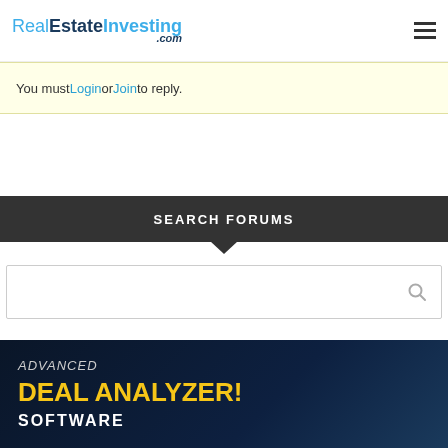RealEstateInvesting.com
You must Login or Join to reply.
SEARCH FORUMS
[Figure (other): Search input field with magnifying glass icon]
[Figure (other): Advertisement banner: ADVANCED DEAL ANALYZER! SOFTWARE]